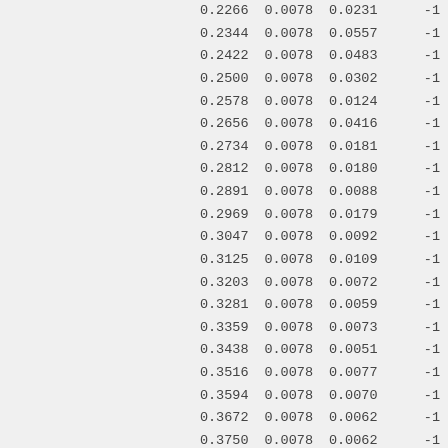| 0.2266 | 0.0078 | 0.0231 | -1 |
| 0.2344 | 0.0078 | 0.0557 | -1 |
| 0.2422 | 0.0078 | 0.0483 | -1 |
| 0.2500 | 0.0078 | 0.0302 | -1 |
| 0.2578 | 0.0078 | 0.0124 | -1 |
| 0.2656 | 0.0078 | 0.0416 | -1 |
| 0.2734 | 0.0078 | 0.0181 | -1 |
| 0.2812 | 0.0078 | 0.0180 | -1 |
| 0.2891 | 0.0078 | 0.0088 | -1 |
| 0.2969 | 0.0078 | 0.0179 | -1 |
| 0.3047 | 0.0078 | 0.0092 | -1 |
| 0.3125 | 0.0078 | 0.0109 | -1 |
| 0.3203 | 0.0078 | 0.0072 | -1 |
| 0.3281 | 0.0078 | 0.0059 | -1 |
| 0.3359 | 0.0078 | 0.0073 | -1 |
| 0.3438 | 0.0078 | 0.0051 | -1 |
| 0.3516 | 0.0078 | 0.0077 | -1 |
| 0.3594 | 0.0078 | 0.0070 | -1 |
| 0.3672 | 0.0078 | 0.0062 | -1 |
| 0.3750 | 0.0078 | 0.0062 | -1 |
| 0.3828 | 0.0078 | 0.0064 | -1 |
| 0.3906 | 0.0078 | 0.0046 | -1 |
| 0.3984 | 0.0078 | 0.0052 | -1 |
| 0.4062 | 0.0078 | 0.0031 | -1 |
| 0.4141 | 0.0078 | 0.0051 | -1 |